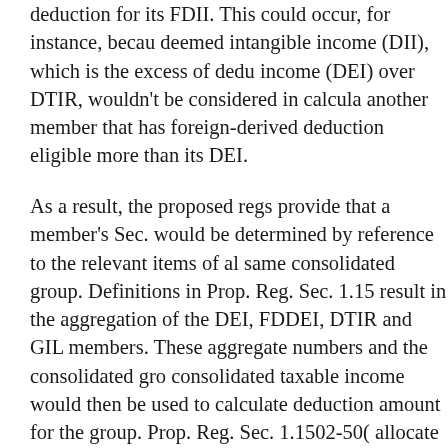deduction for its FDII. This could occur, for instance, because deemed intangible income (DII), which is the excess of deductible income (DEI) over DTIR, wouldn't be considered in calculating another member that has foreign-derived deduction eligible more than its DEI.
As a result, the proposed regs provide that a member's Sec. would be determined by reference to the relevant items of all same consolidated group. Definitions in Prop. Reg. Sec. 1.15 result in the aggregation of the DEI, FDDEI, DTIR and GIL members. These aggregate numbers and the consolidated gro consolidated taxable income would then be used to calculate deduction amount for the group. Prop. Reg. Sec. 1.1502-50( allocate this overall deduction amount among the members b respective contributions to the consolidated group's aggrega FDDEI and the consolidated group's aggregate amount of G